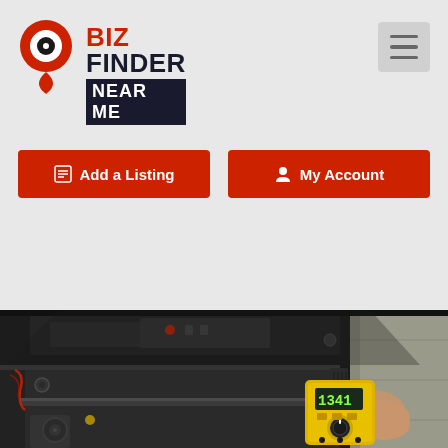[Figure (logo): Biz Finder Near Me logo with red map pin icon and brand name]
[Figure (other): Hamburger menu icon (three horizontal lines) in gray box]
Add a Listing
My Account
[Figure (photo): A person holding a yellow multimeter/digital meter near the interior of a large appliance or industrial machine (black metal components visible), performing electrical testing or repair work.]